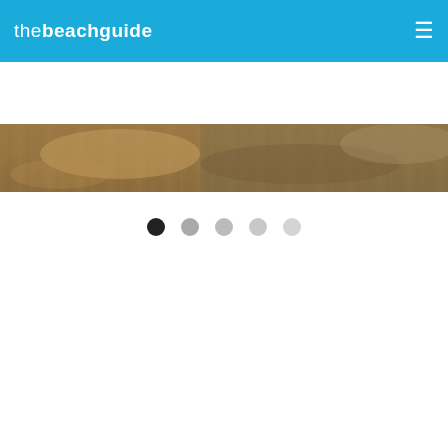thebeachguide
[Figure (photo): Partial photo strip showing a close-up of what appears to be an animal (possibly a seal or sea lion) on a beach, cropped to a narrow horizontal band]
© louise price and licensed for reuse under this cc Licence
[Figure (other): Carousel navigation dots: one dark active dot followed by four progressively lighter inactive dots]